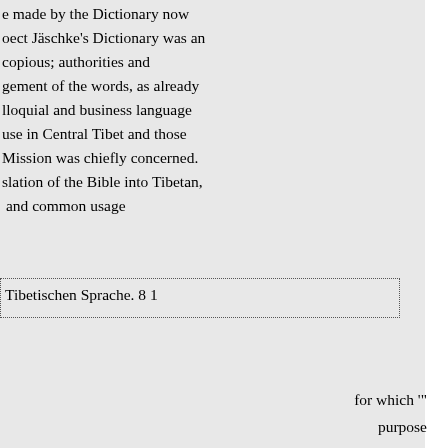e made by the Dictionary now
oect Jäschke's Dictionary was an
copious; authorities and
gement of the words, as already
lloquial and business language
use in Central Tibet and those
Mission was chiefly concerned.
slation of the Bible into Tibetan,
 and common usage
Tibetischen Sprache. 8 1
for which '"
purpose
hed their last signification in
f our own time;" and he further
les
nowledge of the Tibetan
d-work on which the compiler
ritten at the same time another
ers had not seen, and were not
ather Desgodins published at